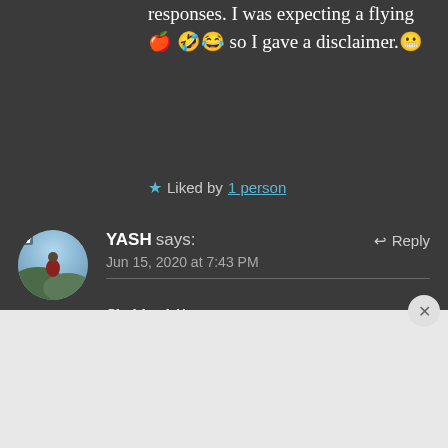responses. I was expecting a flying 🍎 🤣😂 so I gave a disclaimer.😬
★ Liked by 1 person
YASH says: Jun 15, 2020 at 7:43 PM → Reply
Shabbash!!
★ Liked by 1 person
Advertisements
[Figure (other): Advertisement banner: dark background with logo mark '▪2' and text 'Fewer meetings, more work.']